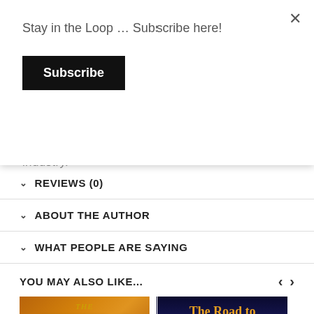Stay in the Loop … Subscribe here!
Subscribe
finale that will shake the foundations of an entire industry.
REVIEWS (0)
ABOUT THE AUTHOR
WHAT PEOPLE ARE SAYING
YOU MAY ALSO LIKE...
[Figure (illustration): Book cover: THE TIES THAT BIND with large gold metallic text on an orange/brown background]
[Figure (illustration): Book cover: The Road to Moonlight Feels Right with dark blue starry background, gold title text, full moon image, subtitle 'The story behind']